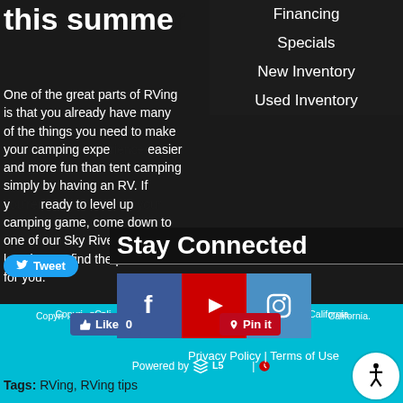this summe…
Financing
Specials
New Inventory
Used Inventory
Stay Connected
One of the great parts of RVing is that you already have many of the things you need to make your camping experience easier and more fun than tent camping simply by having an RV. If you're ready to level up your camping game, come down to one of our Sky River RV locations to find the perfect RV for you.
[Figure (infographic): Social media icons row: Facebook (blue), YouTube (red), Instagram (blue)]
Privacy Policy | Terms of Use
Tweet
Like 0
Pin it
Copyright … California RV Dealer - Sky River RV is your RV Dealer in California.
Powered by
Tags: RVing, RVing tips